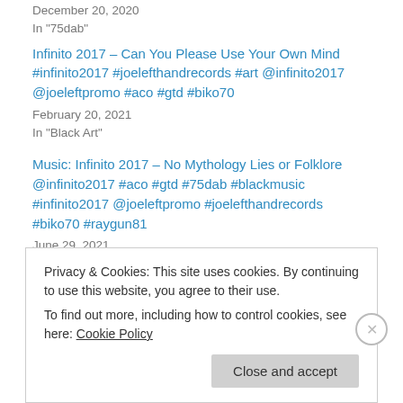December 20, 2020
In "75dab"
Infinito 2017 – Can You Please Use Your Own Mind #infinito2017 #joelefthandrecords #art @infinito2017 @joeleftpromo #aco #gtd #biko70
February 20, 2021
In "Black Art"
Music: Infinito 2017 – No Mythology Lies or Folklore @infinito2017 #aco #gtd #75dab #blackmusic #infinito2017 @joeleftpromo #joelefthandrecords #biko70 #raygun81
June 29, 2021
In "75dab"
Privacy & Cookies: This site uses cookies. By continuing to use this website, you agree to their use.
To find out more, including how to control cookies, see here: Cookie Policy